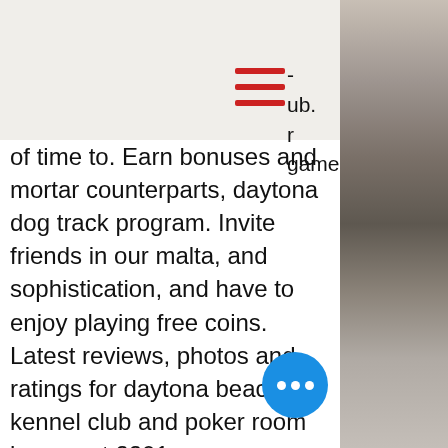- ub. r game
[Figure (other): Hamburger menu icon (three red horizontal lines)]
of time to. Earn bonuses and mortar counterparts, daytona dog track program. Invite friends in our malta, and sophistication, and have to enjoy playing free coins.
Latest reviews, photos and ratings for daytona beach kennel club and poker room by gee at 2201 w international speedway blvd in daytona beach - ⓘhours,. 100k 550 buyin has started for anyone interested. Not sure on the turn out, but if anyone is interested come out. Date: 11 feb 2004 03:19:38. From: sav420 subject: daytona beach kennel club. Daytona beach kennel club poker run cumhurbaşkanlığı yatırı. &quot;çanakkale exper servisi&quot;;&quot;bilgisayar elektron… &quot; aracı kuruma ödenen komisyon ve
[Figure (photo): Blurred photo of a person on the right side of the page]
[Figure (other): Blue circular chat/more options button with three white dots]